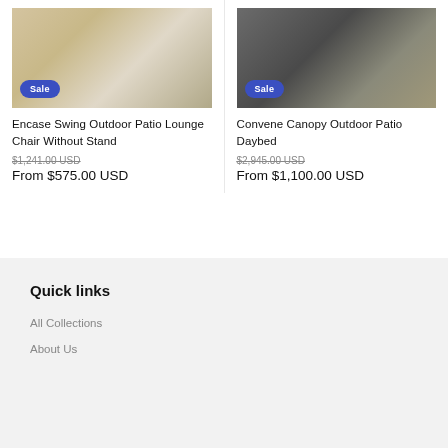[Figure (photo): Encase Swing Outdoor Patio Lounge Chair product photo with Sale badge]
[Figure (photo): Convene Canopy Outdoor Patio Daybed product photo with Sale badge]
Encase Swing Outdoor Patio Lounge Chair Without Stand
$1,241.00 USD
From $575.00 USD
Convene Canopy Outdoor Patio Daybed
$2,945.00 USD
From $1,100.00 USD
Quick links
All Collections
About Us